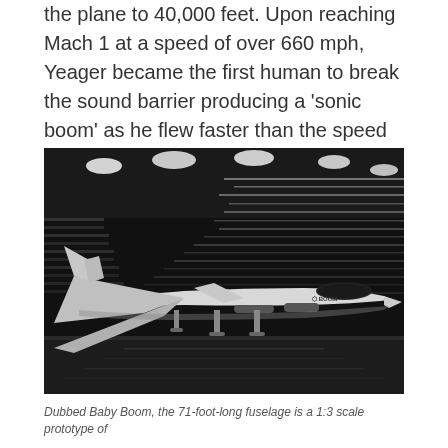the plane to 40,000 feet. Upon reaching Mach 1 at a speed of over 660 mph, Yeager became the first human to break the sound barrier producing a 'sonic boom' as he flew faster than the speed of sound for 18 seconds.
[Figure (photo): Black and white photograph of a sleek supersonic aircraft (Baby Boom prototype) displayed in a hangar with dramatic horizontal light streaks on walls and ceiling spotlights. The aircraft has a delta wing configuration and pointed nose cone, with landing gear deployed, bearing a 'BOOM' logo on the fuselage.]
Dubbed Baby Boom, the 71-foot-long fuselage is a 1:3 scale prototype of